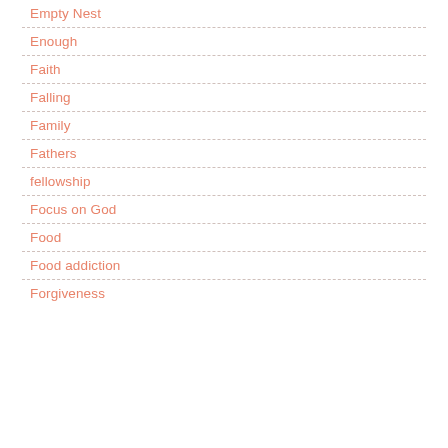Empty Nest
Enough
Faith
Falling
Family
Fathers
fellowship
Focus on God
Food
Food addiction
Forgiveness